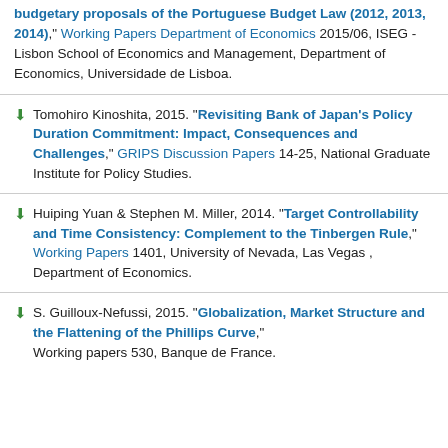budgetary proposals of the Portuguese Budget Law (2012, 2013, 2014)," Working Papers Department of Economics 2015/06, ISEG - Lisbon School of Economics and Management, Department of Economics, Universidade de Lisboa.
Tomohiro Kinoshita, 2015. "Revisiting Bank of Japan's Policy Duration Commitment: Impact, Consequences and Challenges," GRIPS Discussion Papers 14-25, National Graduate Institute for Policy Studies.
Huiping Yuan & Stephen M. Miller, 2014. "Target Controllability and Time Consistency: Complement to the Tinbergen Rule," Working Papers 1401, University of Nevada, Las Vegas , Department of Economics.
S. Guilloux-Nefussi, 2015. "Globalization, Market Structure and the Flattening of the Phillips Curve," Working papers 530, Banque de France.